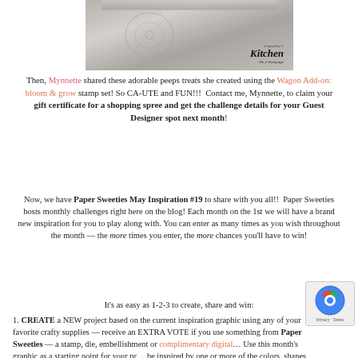[Figure (photo): Photo of a decorative tin or cup with floral embossing, partially shown at top. Watermark reads 'empathy's Kitchen On a Stampage']
Then, Mynnette shared these adorable peeps treats she created using the Wagon Add-on: bloom & grow stamp set! So CA-UTE and FUN!!! Contact me, Mynnette, to claim your gift certificate for a shopping spree and get the challenge details for your Guest Designer spot next month!
Now, we have Paper Sweeties May Inspiration #19 to share with you all!! Paper Sweeties hosts monthly challenges right here on the blog! Each month on the 1st we will have a brand new inspiration for you to play along with. You can enter as many times as you wish throughout the month — the more times you enter, the more chances you'll have to win!
It's as easy as 1-2-3 to create, share and win:
1. CREATE a NEW project based on the current inspiration graphic using any of your favorite crafty supplies — receive an EXTRA VOTE if you use something from Paper Sweeties — a stamp, die, embellishment or complimentary digital... Use this month's graphic as a starting point for your pr... be inspired by one or more of the colors, shapes, theme —